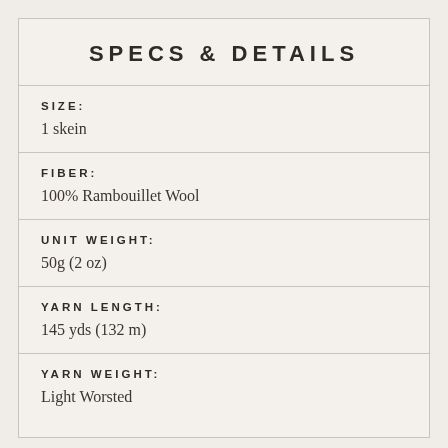SPECS & DETAILS
| SIZE: | 1 skein |
| FIBER: | 100% Rambouillet Wool |
| UNIT WEIGHT: | 50g (2 oz) |
| YARN LENGTH: | 145 yds (132 m) |
| YARN WEIGHT: | Light Worsted |